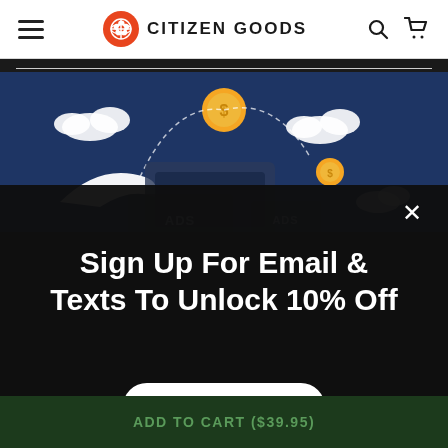CITIZEN GOODS
[Figure (screenshot): E-commerce website screenshot showing Citizen Goods header with hamburger menu, orange logo, search icon, and cart icon. Below is a blue illustration strip with coins and clouds graphic. A modal popup overlays the page with dark semi-transparent background showing 'Sign Up For Email & Texts To Unlock 10% Off' with a close X button, ADS placeholder boxes, a white rounded 'Get Discount' button, and a dark green 'ADD TO CART ($39.95)' bar at the bottom.]